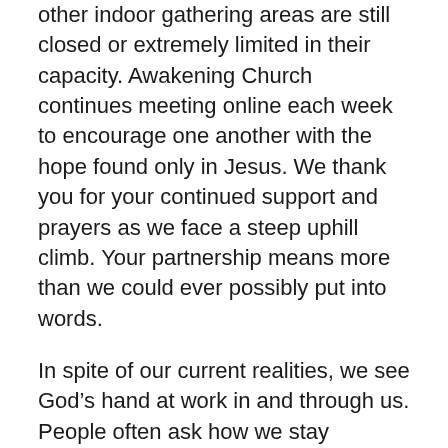other indoor gathering areas are still closed or extremely limited in their capacity. Awakening Church continues meeting online each week to encourage one another with the hope found only in Jesus. We thank you for your continued support and prayers as we face a steep uphill climb. Your partnership means more than we could ever possibly put into words.
In spite of our current realities, we see God’s hand at work in and through us. People often ask how we stay engaged during a time of shut-down and digital gatherings. My answer is always, “through intentionality.” We work hard to daily spend time with God, each other, and look for ways to engage our city in new ways. This season is hard, but it’s been good as we’ve been challenged to think outside the box and keep our urgency with the gospel burning